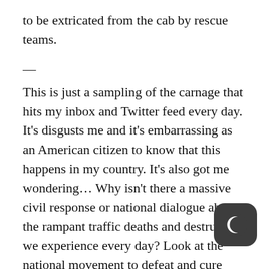to be extricated from the cab by rescue teams.
—
This is just a sampling of the carnage that hits my inbox and Twitter feed every day. It's disgusts me and it's embarrassing as an American citizen to know that this happens in my country. It's also got me wondering… Why isn't there a massive civil response or national dialogue about the rampant traffic deaths and destruction we experience every day? Look at the national movement to defeat and cure cancer. Where are all the 5K runs and fundraisers to raise awareness and create urgency to stop this madness? Can we at least pick a color and make some bracelets? Are we really just g to continue business as usual and accept this? Maybe I'm part of the problem because I just sit